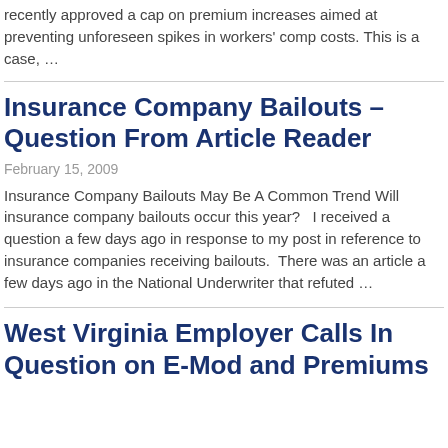recently approved a cap on premium increases aimed at preventing unforeseen spikes in workers' comp costs. This is a case, ...
Insurance Company Bailouts – Question From Article Reader
February 15, 2009
Insurance Company Bailouts May Be A Common Trend Will insurance company bailouts occur this year?   I received a question a few days ago in response to my post in reference to insurance companies receiving bailouts.  There was an article a few days ago in the National Underwriter that refuted ...
West Virginia Employer Calls In Question on E-Mod and Premiums